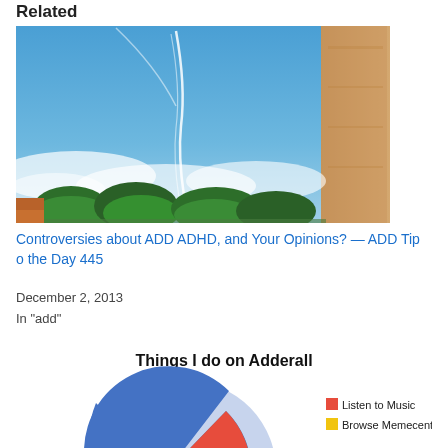Related
[Figure (photo): Photo of a blue sky with white cloud/contrail streaks and green trees in the foreground, with a tall sandy-colored stone pillar or wall on the right side.]
Controversies about ADD ADHD, and Your Opinions? — ADD Tip o the Day 445
December 2, 2013
In "add"
[Figure (pie-chart): Pie chart titled 'Things I do on Adderall' with a partial view showing red slice (Listen to Music), yellow slice (Browse Memecenter), blue slice, and orange slice. Legend on the right shows red=Listen to Music and yellow=Browse Memecenter.]